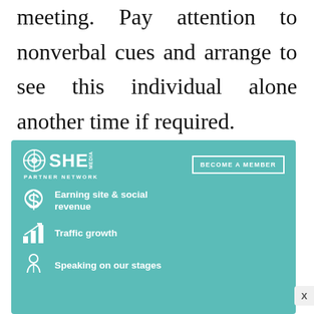meeting. Pay attention to nonverbal cues and arrange to see this individual alone another time if required.
[Figure (infographic): SHE Media Partner Network advertisement banner with teal background. Shows SHE Media logo, 'BECOME A MEMBER' button, and three benefit items: 'Earning site & social revenue', 'Traffic growth', 'Speaking on our stages'.]